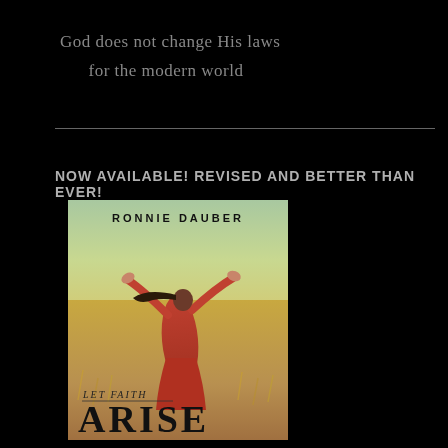God does not change His laws
    for the modern world
NOW AVAILABLE! REVISED AND BETTER THAN EVER!
[Figure (illustration): Book cover for 'Let Faith Arise' by Ronnie Dauber. Shows a woman in a red dress with arms outstretched in a wheat field against a light sky. Title text reads 'LET FAITH ARISE' with author name 'RONNIE DAUBER' at top.]